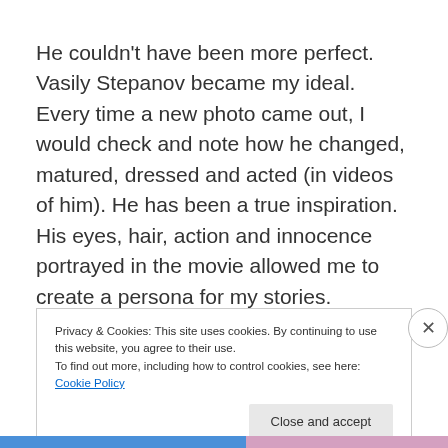He couldn't have been more perfect.  Vasily Stepanov became my ideal.  Every time a new photo came out, I would check and note how he changed, matured, dressed and acted (in videos of him).  He has been a true inspiration.  His eyes, hair, action and innocence portrayed in the movie allowed me to create a persona for my stories.
Privacy & Cookies: This site uses cookies. By continuing to use this website, you agree to their use.
To find out more, including how to control cookies, see here: Cookie Policy